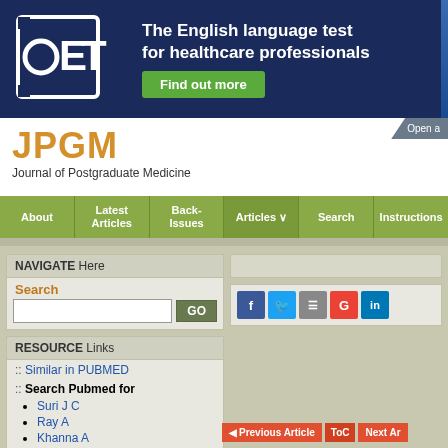[Figure (logo): OET logo on dark blue banner with tagline 'The English language test for healthcare professionals' and green 'Find out more' button]
JPGM
Journal of Postgraduate Medicine
Open a
NAVIGATE Here
Search
RESOURCE Links
:: Similar in PUBMED
:: Search Pubmed for
Suri J C
Ray A
Khanna A
Chitte N S
:: Search in Google Scholar for
Previous Article  ToC  Next Ar